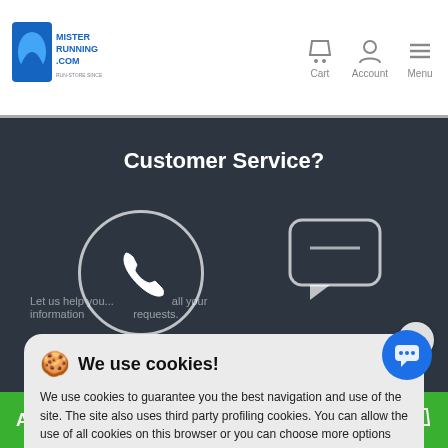Mister Running .com — Cart, Account, Menu
Customer Service?
[Figure (screenshot): Cookie consent banner overlay on misterrunning.com customer service page showing cookie icon, title 'We use cookies!', descriptive text, Customise button, and Allow all cookies button]
We use cookies to guarantee you the best navigation and use of the site. The site also uses third party profiling cookies. You can allow the use of all cookies on this browser or you can choose more options
Customise
Allow all cookies
ADD TO CART